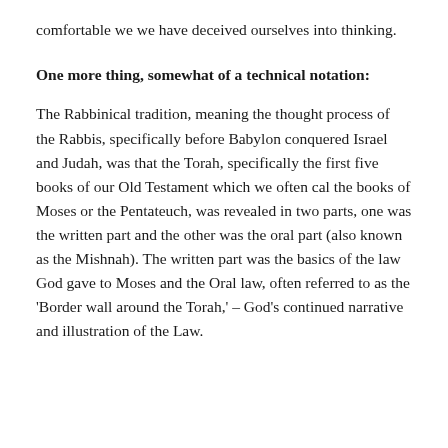comfortable we we have deceived ourselves into thinking.
One more thing, somewhat of a technical notation:
The Rabbinical tradition, meaning the thought process of the Rabbis, specifically before Babylon conquered Israel and Judah, was that the Torah, specifically the first five books of our Old Testament which we often cal the books of Moses or the Pentateuch, was revealed in two parts, one was the written part and the other was the oral part (also known as the Mishnah). The written part was the basics of the law God gave to Moses and the Oral law, often referred to as the 'Border wall around the Torah,' – God's continued narrative and illustration of the Law.